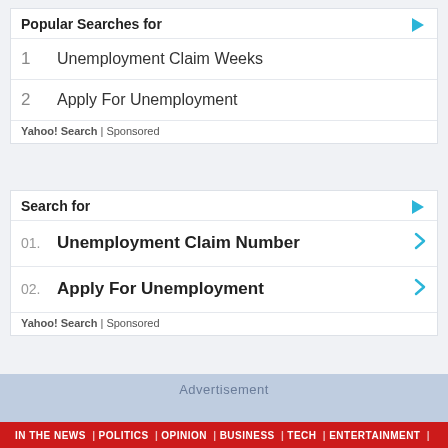Popular Searches for
1  Unemployment Claim Weeks
2  Apply For Unemployment
Yahoo! Search | Sponsored
Search for
01.  Unemployment Claim Number
02.  Apply For Unemployment
Yahoo! Search | Sponsored
Advertisement
IN THE NEWS | POLITICS | OPINION | BUSINESS | TECH | ENTERTAINMENT |